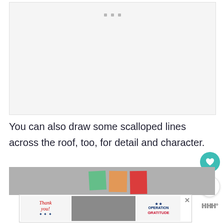[Figure (photo): Light gray placeholder image area with three small gray square dots near the top center, representing a loading or empty image slot]
You can also draw some scalloped lines across the roof, too, for detail and character.
[Figure (photo): Partial photo showing colorful sticky notes (green, orange, red) on a gray background]
[Figure (photo): Advertisement banner: 'Thank you!' Operation Gratitude ad with military personnel image and patriotic design, with a close button]